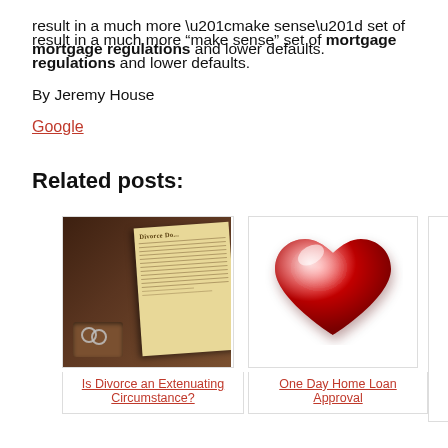result in a much more “make sense” set of mortgage regulations and lower defaults.
By Jeremy House
Google
Related posts:
[Figure (photo): Photo of divorce document with wedding rings on a dark wooden surface, titled 'Divorce Da...']
Is Divorce an Extenuating Circumstance?
[Figure (illustration): Illustration of a shiny red heart on white background]
One Day Home Loan Approval